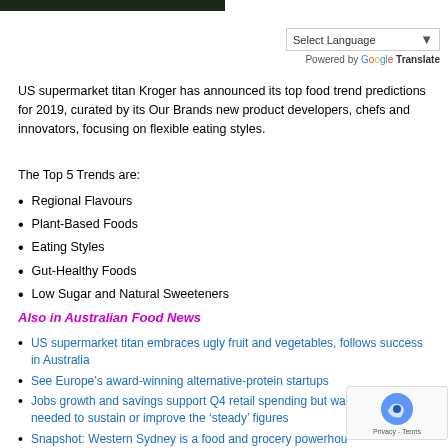[Figure (photo): Dark photograph partially visible at top of page]
Select Language (dropdown widget) — Powered by Google Translate
US supermarket titan Kroger has announced its top food trend predictions for 2019, curated by its Our Brands new product developers, chefs and innovators, focusing on flexible eating styles.
The Top 5 Trends are:
Regional Flavours
Plant-Based Foods
Eating Styles
Gut-Healthy Foods
Low Sugar and Natural Sweeteners
Also in Australian Food News
US supermarket titan embraces ugly fruit and vegetables, follows success in Australia
See Europe's award-winning alternative-protein startups
Jobs growth and savings support Q4 retail spending but wage growth needed to sustain or improve the 'steady' figures
Snapshot: Western Sydney is a food and grocery powerhouse